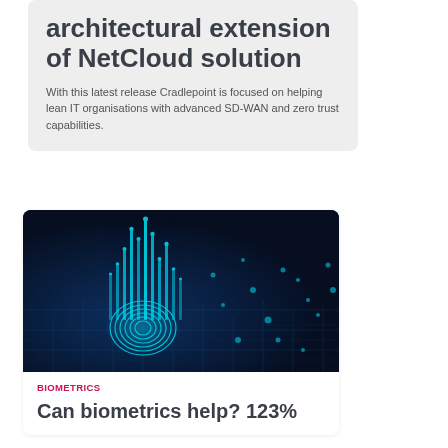architectural extension of NetCloud solution
With this latest release Cradlepoint is focused on helping lean IT organisations with advanced SD-WAN and zero trust capabilities.
[Figure (photo): Technology/biometrics themed photo showing a glowing fingerprint on a circuit board with teal/cyan digital data streams rising upward against a dark blue background]
BIOMETRICS
Can biometrics help? 123%